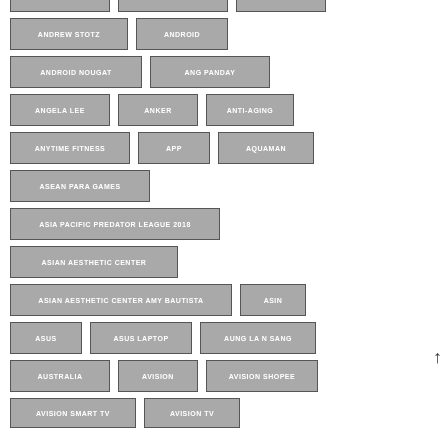ALLVALUE
ALPHA GAMING
AMIR KHAN
ANDREW STOTZ
ANDROID
ANDROID NOUGAT
ANG PANDAY
ANGELA LEE
ANKER
ANTI-AGING
ANYTIME FITNESS
APP
AQUAMAN
ASEAN PARA GAMES
ASIA PACIFIC PREDATOR LEAGUE 2018
ASIAN AESTHETIC CENTER
ASIAN AESTHETIC CENTER AMY BAUTISTA
ASIN
ASUS
ASUS LAPTOP
AUNG LA N SANG
AUSTRALIA
AVISION
AVISION SHOPEE
AVISION SMART TV
AVISION TV